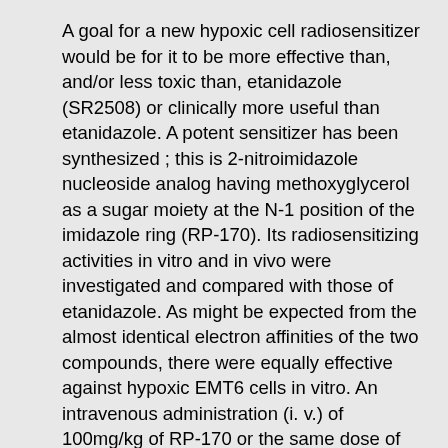A goal for a new hypoxic cell radiosensitizer would be for it to be more effective than, and/or less toxic than, etanidazole (SR2508) or clinically more useful than etanidazole. A potent sensitizer has been synthesized ; this is 2-nitroimidazole nucleoside analog having methoxyglycerol as a sugar moiety at the N-1 position of the imidazole ring (RP-170). Its radiosensitizing activities in vitro and in vivo were investigated and compared with those of etanidazole. As might be expected from the almost identical electron affinities of the two compounds, there were equally effective against hypoxic EMT6 cells in vitro. An intravenous administration (i. v.) of 100mg/kg of RP-170 or the same dose of etanidazole showed an equal sensitizer enhancement ratio (SER) of about 1.4 to solid FMT6 tumor under in vivo-invitro assay and a virtually equal SER of 1.4-1.5 to solid SCCVII tumor under both tumor growth delay assay and TCD50 assay. As predicted from the low partition coefficient, lower drug levels in neural tissue and more rapid serum elimination of RP-170 and etanidazole produced lower acute toxicity than lipophilic sensitizers (e. g.